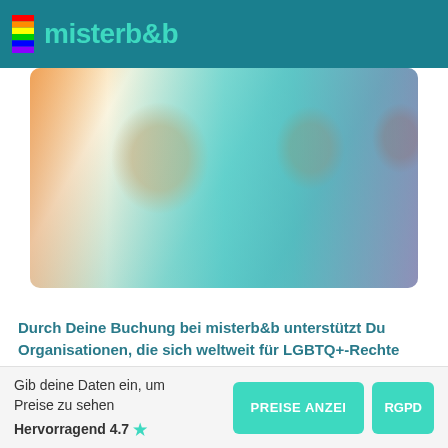misterb&b
[Figure (photo): Colorized photo collage showing people, with rainbow-tinted overlay colors (orange, teal, purple)]
Durch Deine Buchung bei misterb&b unterstützt Du Organisationen, die sich weltweit für LGBTQ+-Rechte einsetzen.
Erfahre in der Fußzeile mehr über die Initiative Mister for Good und unterstütze den Aufbau der Welt von morgen mit einer Spende.
Gib deine Daten ein, um Preise zu sehen
Hervorragend 4.7 ★
PREISE ANZEIGEN   RGPD